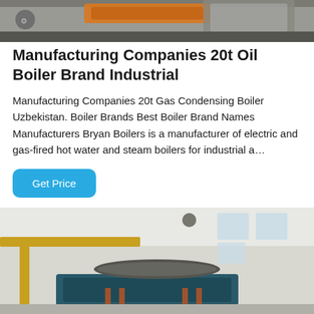[Figure (photo): Industrial boiler or manufacturing equipment, partial top crop showing orange and grey components on a dark floor.]
Manufacturing Companies 20t Oil Boiler Brand Industrial
Manufacturing Companies 20t Gas Condensing Boiler Uzbekistan. Boiler Brands Best Boiler Brand Names Manufacturers Bryan Boilers is a manufacturer of electric and gas-fired hot water and steam boilers for industrial a…
Get Price
[Figure (photo): Industrial boiler installation inside a large facility with yellow overhead cranes, white walls with windows, and large machinery with pipes and cylinders.]